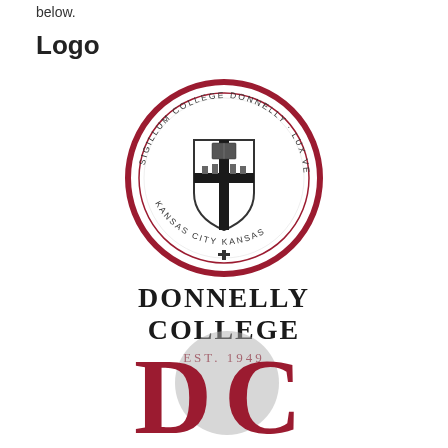below.
Logo
[Figure (logo): Donnelly College official seal and wordmark logo. Circular seal with red border showing a shield with a cross, text reading SIGILLUM COLLEGE DONNELLY · LUX VERA · KANSAS CITY KANSAS. Below the seal: DONNELLY COLLEGE EST. 1949 in black serif with red accent.]
[Figure (logo): Donnelly College DC monogram mark — stylized red D and C letters with a grey circular background element.]